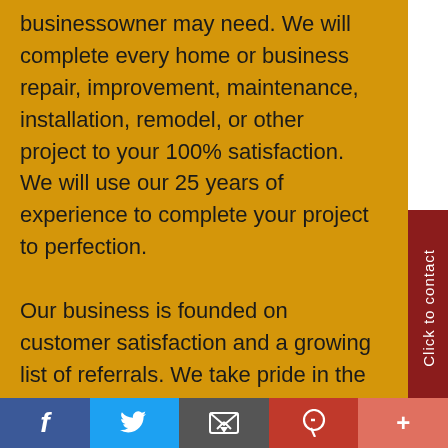businessowner may need. We will complete every home or business repair, improvement, maintenance, installation, remodel, or other project to your 100% satisfaction. We will use our 25 years of experience to complete your project to perfection.

Our business is founded on customer satisfaction and a growing list of referrals. We take pride in the fact the many of our customers are long term and continue to rely on our handyman services for months and years to come. We understand that small projects are
Click to contact
f  [Twitter]  [Email]  p  +